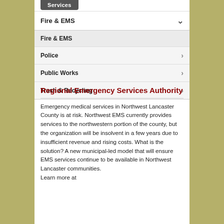Services
Fire & EMS
Fire & EMS
Police
Public Works
Trash & Recycling
Regional Emergency Services Authority
Emergency medical services in Northwest Lancaster County is at risk. Northwest EMS currently provides services to the northwestern portion of the county, but the organization will be insolvent in a few years due to insufficient revenue and rising costs. What is the solution? A new municipal-led model that will ensure EMS services continue to be available in Northwest Lancaster communities. Learn more at